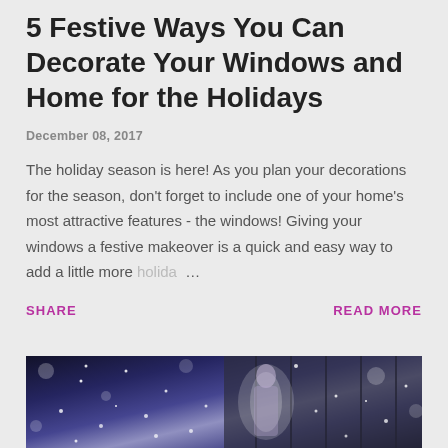5 Festive Ways You Can Decorate Your Windows and Home for the Holidays
December 08, 2017
The holiday season is here! As you plan your decorations for the season, don't forget to include one of your home's most attractive features - the windows! Giving your windows a festive makeover is a quick and easy way to add a little more holida …
SHARE
READ MORE
[Figure (photo): Dark winter night photo with snow falling and a silhouette figure, bokeh lights in background]